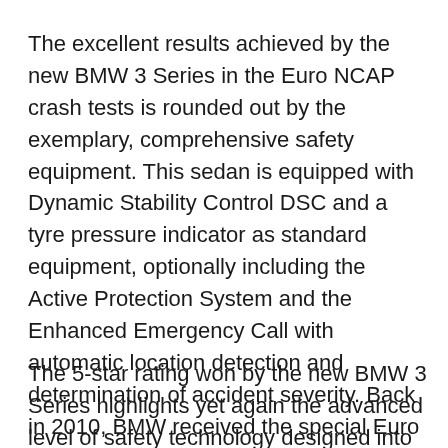The excellent results achieved by the new BMW 3 Series in the Euro NCAP crash tests is rounded out by the exemplary, comprehensive safety equipment. This sedan is equipped with Dynamic Stability Control DSC and a tyre pressure indicator as standard equipment, optionally including the Active Protection System and the Enhanced Emergency Call with automatic location detection and determination of accident severity. Back in 2010, BMW received the special Euro NCAP Advanced Award for the BMW ConnectedDrive Advanced eCall, a capability unique in the middle class.
The 5-star rating won by the new BMW 3 Series highlights yet again the advanced level of safety technology designed into the current models of the